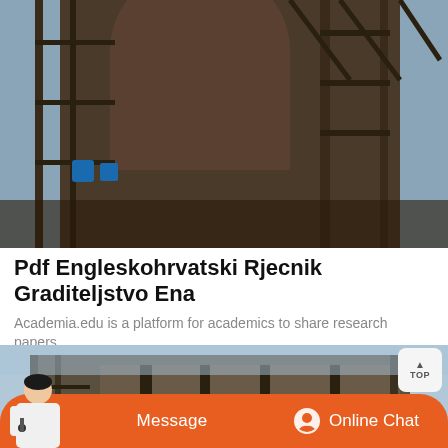[Figure (photo): Industrial machinery/factory structure with dark metal framework and large cylindrical tank, photographed from below against sky]
Pdf Engleskohrvatski Rjecnik Graditeljstvo Ena
Academia.edu is a platform for academics to share research papers.
[Figure (photo): Industrial building under construction or renovation with metal scaffolding and framework, blue sky background, with a person in foreground]
Message
Online Chat